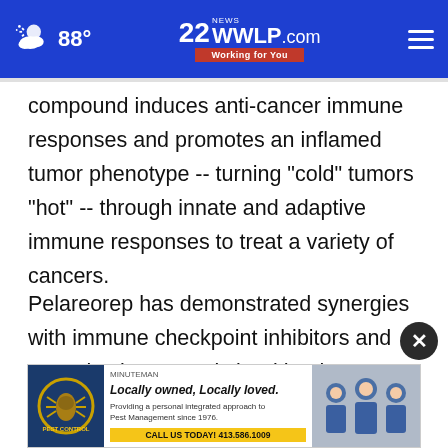88° | 22WWLP.com NEWS Working for You
compound induces anti-cancer immune responses and promotes an inflamed tumor phenotype -- turning "cold" tumors "hot" -- through innate and adaptive immune responses to treat a variety of cancers.
Pelareorep has demonstrated synergies with immune checkpoint inhibitors and may also be synergistic with other approved oncology treatments. Oncolytics is currently conducting and p...
[Figure (screenshot): Advertisement banner for Minuteman Pest Control: Locally owned, Locally loved. Providing a personal integrated approach to Pest Management since 1976. CALL US TODAY! 413.586.1009. Shows pest control logo and three men in blue uniforms.]